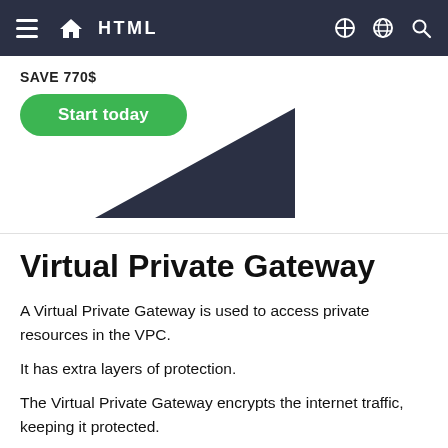HTML
SAVE 770$
[Figure (illustration): A green 'Start today' button and a dark navy triangle shape below it, part of a promotional banner.]
Virtual Private Gateway
A Virtual Private Gateway is used to access private resources in the VPC.
It has extra layers of protection.
The Virtual Private Gateway encrypts the internet traffic, keeping it protected.
It is a component that allows the encrypted traffic to enter the VPC.